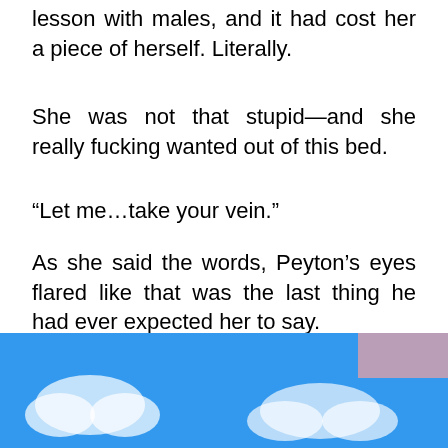lesson with males, and it had cost her a piece of herself. Literally.
She was not that stupid—and she really fucking wanted out of this bed.
“Let me…take your vein.”
As she said the words, Peyton’s eyes flared like that was the last thing he had ever expected her to say.
“Please,” he said roughly as he extended his wrist to her.
Except he immediately retracted his arm and brought his own flesh to his lips. His brows tighten… for a time… and bit into himself, and then h…